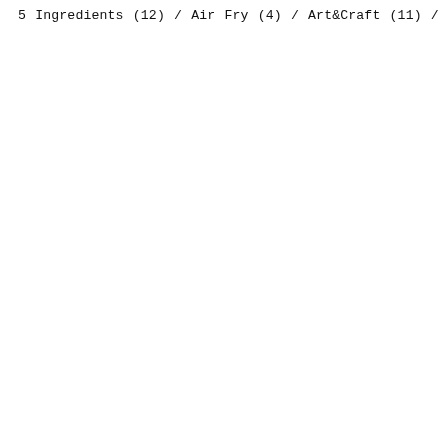5 Ingredients (12) / Air Fry (4) / Art & Craft (11) / Bagel (2) / BBQ/Grill (39) / Beef (96) / Bread (155) / Brownies (21) / Cake (283) / Cake Decorating (57) / Candy (57) / Casserole (4) / Cheesecake (25) / Chicken/Poultry (117) / Chili (2) / Condiment/Pickles (8) / Cookies (116) / Dessert (172) / Dining Out (23) / Doughnut (14) / Drinks (42) / Dumpling (12) / Egg Dish (20) / Elk/Moose/Deer (6) / Fermentation (18) / Gingerbread House (5) / Giveaway/Competition (26) / Halloween (48) / Homemade Seasonings/Rubs (1) / Homemade Spreads/Jams (19) / Hungarian (156) / Ice Cream (9) / Indonesian (335) / Instant Pot (11) / Instructables (121) / Juicing/Smoothie (13) / Low Carb/Keto (15) / Microwave (16) / Mug Cake (4) / Pancake/Waffle (22) / Party Table Ideas (8) / Pasta/Noodle (41) / Pastry (30) / Pie (46) / Pizza (7) / Porridge (15) / Potatoes (22) / Pressure Cooker (1) / Rabbit (3) / Rice (36) / Salad (13) / Sandwich (2) / Seafood (45) / Slow Cooker/Crockpot (9) / Snacks (67) / Soup & Stew (114) / Sourdough Starter (5) /